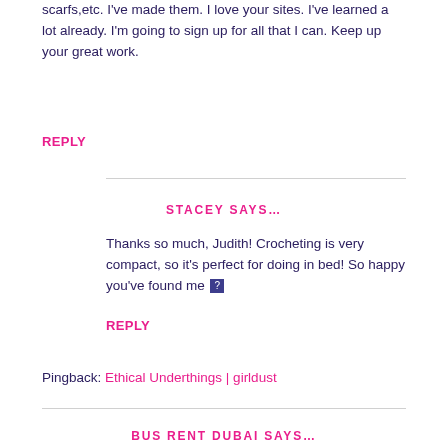scarfs,etc. I've made them. I love your sites. I've learned a lot already. I'm going to sign up for all that I can. Keep up your great work.
REPLY
STACEY SAYS…
Thanks so much, Judith! Crocheting is very compact, so it's perfect for doing in bed! So happy you've found me 🙂
REPLY
Pingback: Ethical Underthings | girldust
BUS RENT DUBAI SAYS…